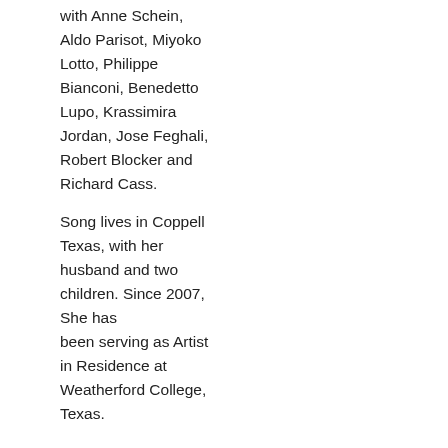with Anne Schein, Aldo Parisot, Miyoko Lotto, Philippe Bianconi, Benedetto Lupo, Krassimira Jordan, Jose Feghali, Robert Blocker and Richard Cass.
Song lives in Coppell Texas, with her husband and two children. Since 2007, She has been serving as Artist in Residence at Weatherford College, Texas.